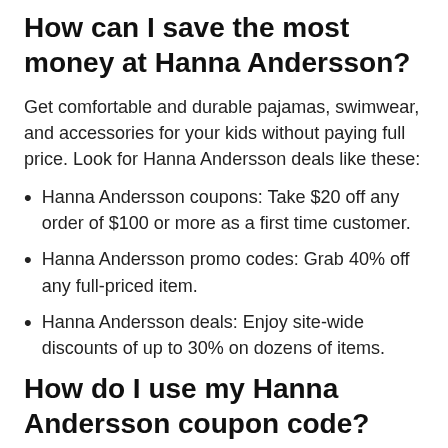How can I save the most money at Hanna Andersson?
Get comfortable and durable pajamas, swimwear, and accessories for your kids without paying full price. Look for Hanna Andersson deals like these:
Hanna Andersson coupons: Take $20 off any order of $100 or more as a first time customer.
Hanna Andersson promo codes: Grab 40% off any full-priced item.
Hanna Andersson deals: Enjoy site-wide discounts of up to 30% on dozens of items.
How do I use my Hanna Andersson coupon code?
To redeem your Hanna Andersson promo code, follow these steps:
Select a Hanna Andersson promo code to